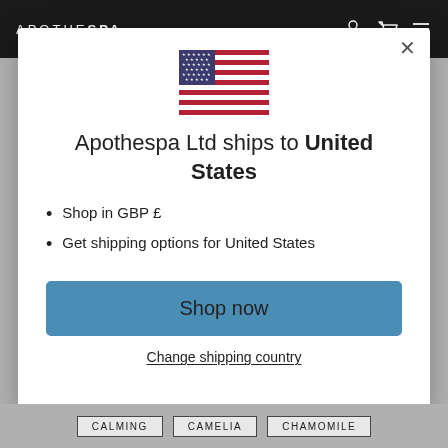APOTHE SPA
[Figure (illustration): United States flag]
Apothespa Ltd ships to United States
Shop in GBP £
Get shipping options for United States
Shop now
Change shipping country